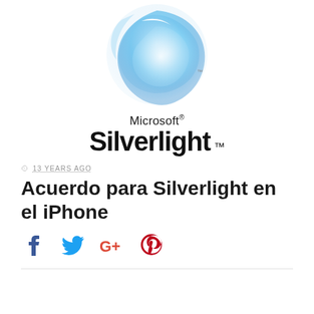[Figure (logo): Microsoft Silverlight logo with blue translucent swirl graphic above the text 'Microsoft® Silverlight™']
13 YEARS AGO
Acuerdo para Silverlight en el iPhone
[Figure (infographic): Social sharing icons: Facebook (blue), Twitter (blue), Google+ (red), Pinterest (red)]